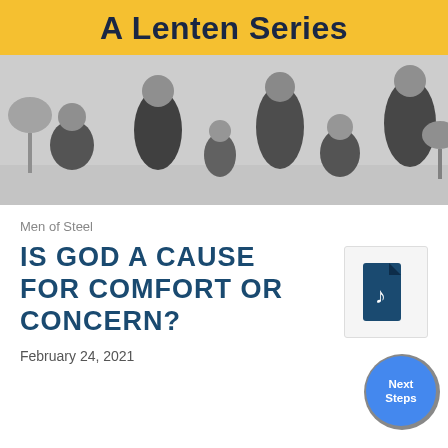A Lenten Series
[Figure (photo): Black and white group photo of six older men in a room, some seated some standing, casual clothing]
Men of Steel
IS GOD A CAUSE FOR COMFORT OR CONCERN?
[Figure (other): Audio file icon — dark blue document icon with a musical note]
February 24, 2021
[Figure (other): Blue circular Next Steps button]